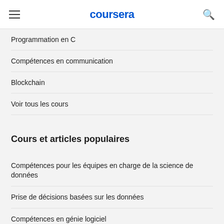coursera
Programmation en C
Compétences en communication
Blockchain
Voir tous les cours
Cours et articles populaires
Compétences pour les équipes en charge de la science de données
Prise de décisions basées sur les données
Compétences en génie logiciel
Compétences personnelles pour les équipes d'ingénieurs
Compétences en gestion